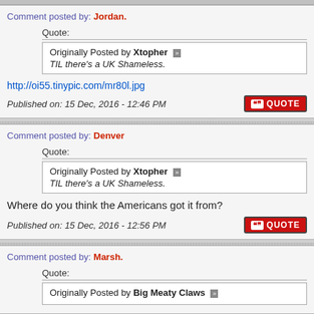Comment posted by: Jordan.
Quote: Originally Posted by Xtopher >> TIL there's a UK Shameless.
http://oi55.tinypic.com/mr80l.jpg
Published on: 15 Dec, 2016 - 12:46 PM
Comment posted by: Denver
Quote: Originally Posted by Xtopher >> TIL there's a UK Shameless.
Where do you think the Americans got it from?
Published on: 15 Dec, 2016 - 12:56 PM
Comment posted by: Marsh.
Quote: Originally Posted by Big Meaty Claws >>